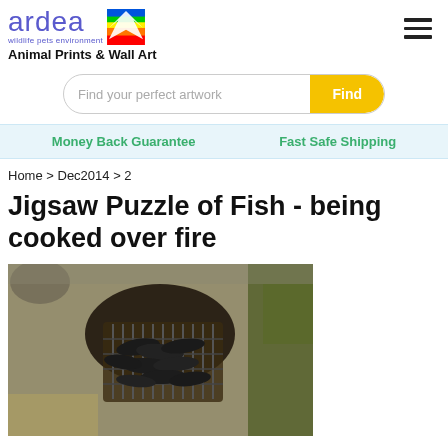[Figure (logo): Ardea wildlife pets environment logo with rainbow colored bird graphic]
Animal Prints & Wall Art
Find your perfect artwork
Money Back Guarantee     Fast Safe Shipping
Home > Dec2014 > 2
Jigsaw Puzzle of Fish - being cooked over fire
[Figure (photo): Aerial/overhead view of fish being cooked on a grill over fire, surrounded by grass and burnt ground]